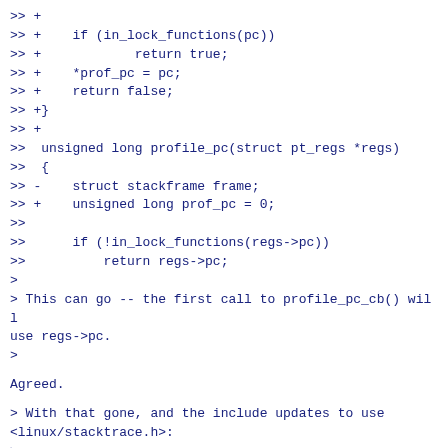>> +
>> +    if (in_lock_functions(pc))
>> +            return true;
>> +    *prof_pc = pc;
>> +    return false;
>> +}
>> +
>>  unsigned long profile_pc(struct pt_regs *regs)
>>  {
>> -    struct stackframe frame;
>> +    unsigned long prof_pc = 0;
>>
>>      if (!in_lock_functions(regs->pc))
>>          return regs->pc;
>
> This can go -- the first call to profile_pc_cb() will use regs->pc.
>
Agreed.
> With that gone, and the include updates to use <linux/stacktrace.h>:
>
> Reviewed-by: Mark Rutland <mark.rutland@arm.com>
>
I will make the two changes.
Madhavan